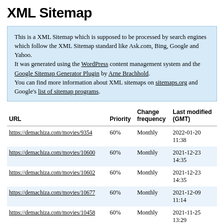XML Sitemap
This is a XML Sitemap which is supposed to be processed by search engines which follow the XML Sitemap standard like Ask.com, Bing, Google and Yahoo.
It was generated using the WordPress content management system and the Google Sitemap Generator Plugin by Arne Brachhold.
You can find more information about XML sitemaps on sitemaps.org and Google's list of sitemap programs.
| URL | Priority | Change frequency | Last modified (GMT) |
| --- | --- | --- | --- |
| https://demachiza.com/movies/9354 | 60% | Monthly | 2022-01-20 11:38 |
| https://demachiza.com/movies/10600 | 60% | Monthly | 2021-12-23 14:35 |
| https://demachiza.com/movies/10602 | 60% | Monthly | 2021-12-23 14:35 |
| https://demachiza.com/movies/10677 | 60% | Monthly | 2021-12-09 11:14 |
| https://demachiza.com/movies/10458 | 60% | Monthly | 2021-11-25 13:29 |